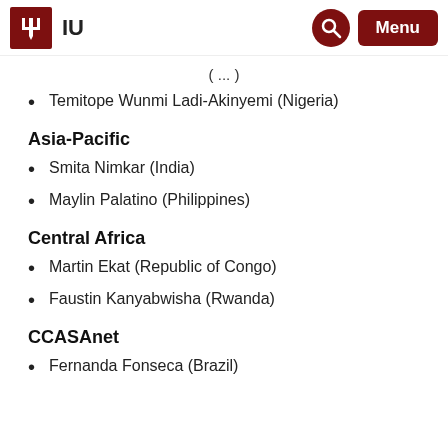IU
(…)
Temitope Wunmi Ladi-Akinyemi (Nigeria)
Asia-Pacific
Smita Nimkar (India)
Maylin Palatino (Philippines)
Central Africa
Martin Ekat (Republic of Congo)
Faustin Kanyabwisha (Rwanda)
CCASAnet
Fernanda Fonseca (Brazil)